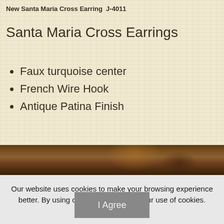New Santa Maria Cross Earring  J-4011
Santa Maria Cross Earrings
Faux turquoise center
French Wire Hook
Antique Patina Finish
[Figure (photo): Dark warm-toned photo strip, likely showing a landscape or product backdrop with earthy brown and amber tones]
Our website uses cookies to make your browsing experience better. By using our site you agree to our use of cookies.
Learn More
I Agree